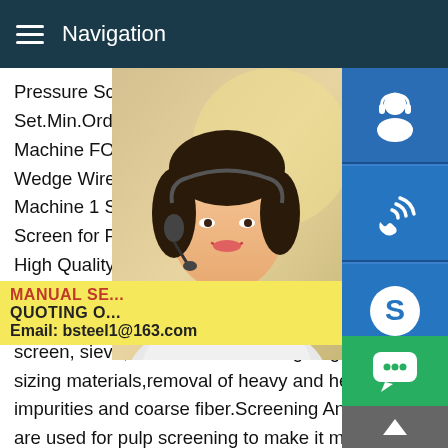Navigation
Pressure Screen for Paper Mill FOB Price Set.Min.Order 1 Set High Quality Press Screen Machine FOB Price China Pulping Equiepment Machine Wedge Wire Screen Basket/Drilled Pulp Making Machine 1 Set Contact Now. Inflow Pressure Screen for Paper Mill FOB Set.Min.Order 1 Set High Quality Press Screen Machine FOB Price China Pressure Screen Consistency Cleaner Pressure Screen is used and papermaking industry coarse screen, sieve,continuous screening or grading of sizing materials,removal of heavy and heavy impurities and coarse fiber.Screening And Cleaner are used for pulp screening to make it more clean.It includes Pressure Screen,Fine Screen,High Consistency Cleaner,Float Purger,Low Consistency Cleaner
[Figure (photo): Woman with headset smiling, customer service representative]
[Figure (infographic): Blue icon buttons on right sidebar: customer service headset icon, phone/call icon, Skype icon]
MANUAL SE... QUOTING O... Email: bsteel1@163.com
[Figure (infographic): Green chat bubble button and grey scroll-to-top button at bottom right]